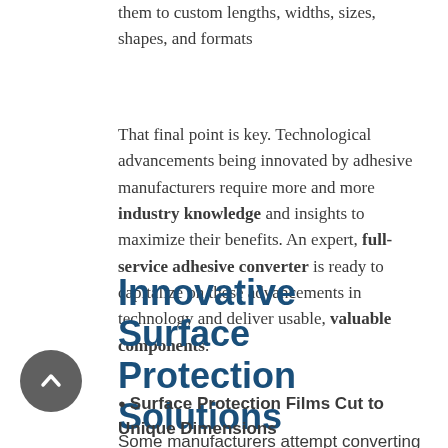them to custom lengths, widths, sizes, shapes, and formats
That final point is key. Technological advancements being innovated by adhesive manufacturers require more and more industry knowledge and insights to maximize their benefits. An expert, full-service adhesive converter is ready to capitalize on these advancements in technology and deliver usable, valuable components.
Innovative Surface Protection Solutions
Surface Protection Films Cut to Unique Dimensions
Some manufacturers attempt converting in-